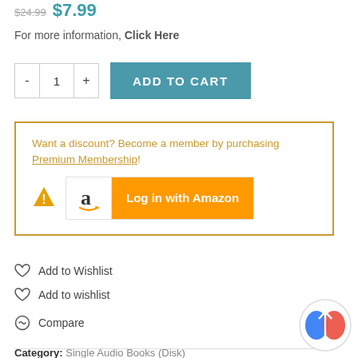$24.99 $7.99
For more information, Click Here
- 1 + ADD TO CART
Want a discount? Become a member by purchasing Premium Membership!
Log in with Amazon
Add to Wishlist
Add to wishlist
Compare
Category: Single Audio Books (Disk)